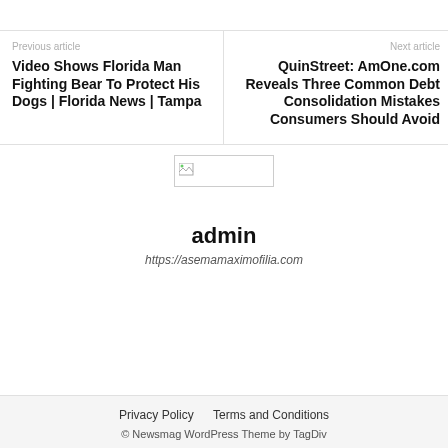Previous article
Video Shows Florida Man Fighting Bear To Protect His Dogs | Florida News | Tampa
Next article
QuinStreet: AmOne.com Reveals Three Common Debt Consolidation Mistakes Consumers Should Avoid
[Figure (illustration): Broken image placeholder with small icon]
admin
https://asemamaximofilia.com
Privacy Policy   Terms and Conditions
© Newsmag WordPress Theme by TagDiv